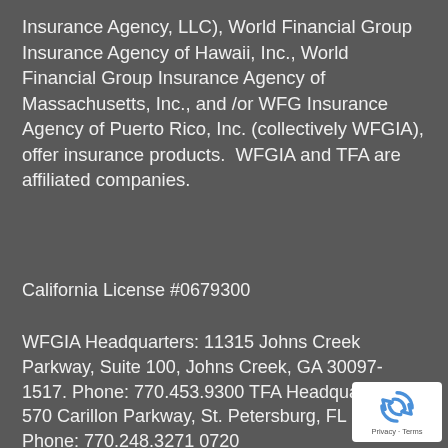Insurance Agency, LLC), World Financial Group Insurance Agency of Hawaii, Inc., World Financial Group Insurance Agency of Massachusetts, Inc., and /or WFG Insurance Agency of Puerto Rico, Inc. (collectively WFGIA), offer insurance products.  WFGIA and TFA are affiliated companies.
California License #0679300
WFGIA Headquarters: 11315 Johns Creek Parkway, Suite 100, Johns Creek, GA 30097-1517. Phone: 770.453.9300 TFA Headquarters: 570 Carillon Parkway, St. Petersburg, FL 33716. Phone: 770.248.3271 0720
[Figure (logo): reCAPTCHA badge with Privacy and Terms links]